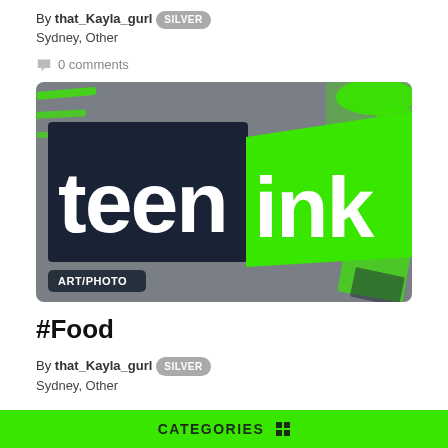By that_Kayla_gurl SILVER
Sydney, Other
0 comments
[Figure (logo): Teen Ink logo on dark navy and green background with ART/PHOTO tag overlay]
#Food
By that_Kayla_gurl SILVER
Sydney, Other
CATEGORIES